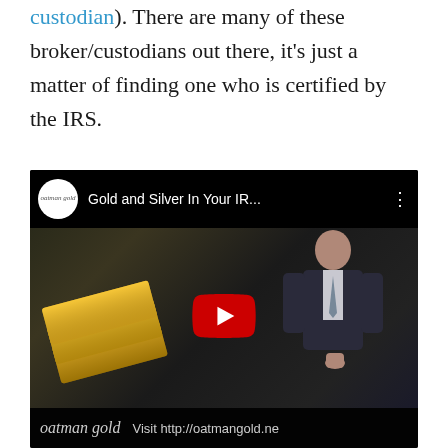custodian). There are many of these broker/custodians out there, it's just a matter of finding one who is certified by the IRS.
[Figure (screenshot): YouTube video embed thumbnail showing 'Gold and Silver In Your IR...' by Oatman Gold channel, with a man in a suit and gold bars visible, YouTube play button overlay, and footer text 'Visit http://oatmangold.ne']